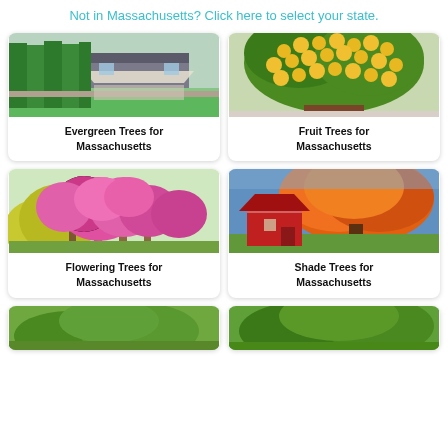Not in Massachusetts? Click here to select your state.
[Figure (photo): House with tall evergreen hedges and manicured lawn]
Evergreen Trees for Massachusetts
[Figure (photo): Fruit tree with yellow/orange fruits (lemons or similar citrus)]
Fruit Trees for Massachusetts
[Figure (photo): Flowering trees with pink and magenta blossoms]
Flowering Trees for Massachusetts
[Figure (photo): Autumn shade tree with orange and red foliage near a red barn]
Shade Trees for Massachusetts
[Figure (photo): Partial bottom card image - green garden/tree scene]
[Figure (photo): Partial bottom card image - green garden/tree scene]